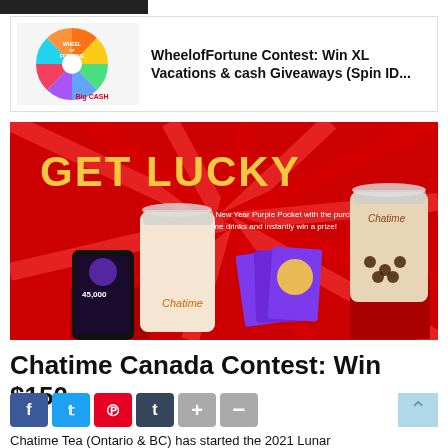[Figure (screenshot): Wheel of Fortune contest advertisement thumbnail with colorful spinning wheel and 'Big CASH' text]
WheelofFortune Contest: Win XL Vacations & cash Giveaways (Spin ID...
[Figure (photo): Chatime Canada 'Get Lucky' Lunar New Year promotion showing two Chatime drinks, purple lucky pocket envelopes, and a mobile app showing 45,000 points on a red background]
Chatime Canada Contest: Win $150
Chatime Tea (Ontario & BC) has started the 2021 Lunar